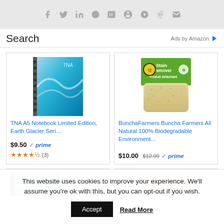[Figure (other): Social media share icons: Facebook, Twitter, LinkedIn, Reddit, Tumblr, Google+, Pinterest, VK, Email]
Search
Ads by Amazon
[Figure (photo): TNA A5 Notebook with blue/teal glacier wave cover design, spiral bound]
TNA A5 Notebook Limited Edition, Earth Glacier Seri…
$9.50 ✓prime
★★★★☆ (3)
[Figure (photo): BunchaFarmers stain remover bar product, greenish packaging with a soap bar]
BunchaFarmers Buncha Farmers All Natural 100% Biodegradable Environment…
$10.00 $12.99 ✓prime
[Figure (photo): Partial view of another TNA notebook product]
[Figure (photo): Partial view of a Blueland product]
This website uses cookies to improve your experience. We'll assume you're ok with this, but you can opt-out if you wish.
Accept
Read More